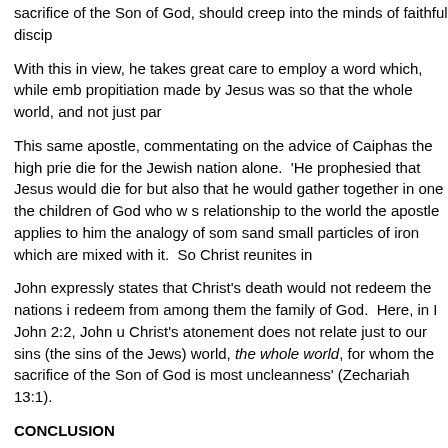sacrifice of the Son of God, should creep into the minds of faithful discip
With this in view, he takes great care to employ a word which, while emb propitiation made by Jesus was so that the whole world, and not just par
This same apostle, commentating on the advice of Caiphas the high prie die for the Jewish nation alone. 'He prophesied that Jesus would die for but also that he would gather together in one the children of God who w s relationship to the world the apostle applies to him the analogy of som sand small particles of iron which are mixed with it. So Christ reunites in
John expressly states that Christ's death would not redeem the nations i redeem from among them the family of God. Here, in I John 2:2, John u Christ's atonement does not relate just to our sins (the sins of the Jews) world, the whole world, for whom the sacrifice of the Son of God is most uncleanness' (Zechariah 13:1).
CONCLUSION
We have seen that, just as in the first category of texts that we examine verse sustains the idea of a universal atonement. Quite the opposite is
While establishing the truth that Christ's sacrifice was for all nations in g atonement was made for those from among the peoples of the world wh